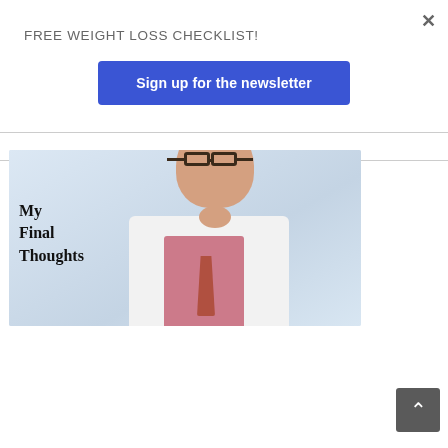FREE WEIGHT LOSS CHECKLIST!
Sign up for the newsletter
[Figure (photo): Photo of a bald doctor wearing glasses, a white lab coat, pink shirt and tie, smiling at the camera. Text overlay on the left reads 'My Final Thoughts' in bold serif font.]
My Final Thoughts